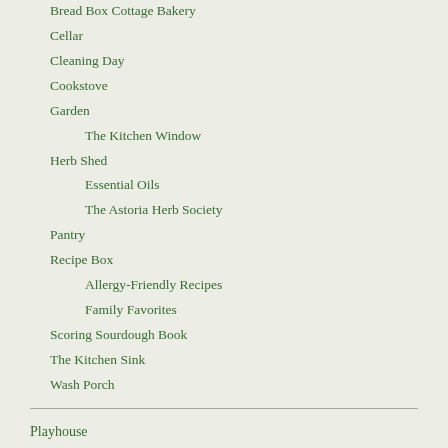Bread Box Cottage Bakery
Cellar
Cleaning Day
Cookstove
Garden
The Kitchen Window
Herb Shed
Essential Oils
The Astoria Herb Society
Pantry
Recipe Box
Allergy-Friendly Recipes
Family Favorites
Scoring Sourdough Book
The Kitchen Sink
Wash Porch
Playhouse
Toy Box
Train Tracks